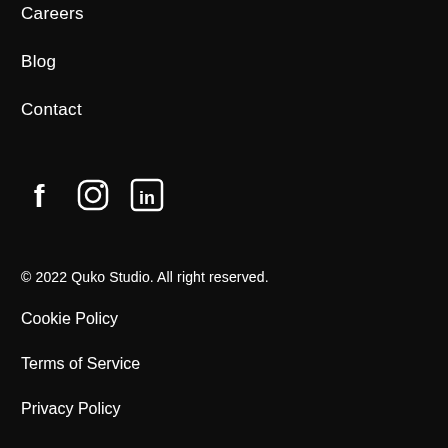Careers
Blog
Contact
[Figure (other): Social media icons: Facebook (f), Instagram (camera), LinkedIn (in)]
© 2022 Quko Studio. All right reserved.
Cookie Policy
Terms of Service
Privacy Policy